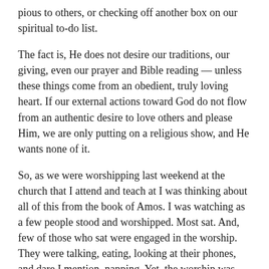pious to others, or checking off another box on our spiritual to-do list.
The fact is, He does not desire our traditions, our giving, even our prayer and Bible reading — unless these things come from an obedient, truly loving heart. If our external actions toward God do not flow from an authentic desire to love others and please Him, we are only putting on a religious show, and He wants none of it.
So, as we were worshipping last weekend at the church that I attend and teach at I was thinking about all of this from the book of Amos. I was watching as a few people stood and worshipped. Most sat. And, few of those who sat were engaged in the worship. They were talking, eating, looking at their phones, and dare I mention, napping. Yet, the worship was amazing and, even if I do say so, anointed.
The teaching was on “Less Religion — More Relationship” (available under Ralph Howe Ministries on Podbean) and people listened politely. Four of those present took notes in their personal journals. Others did not. Bathroom breaks,